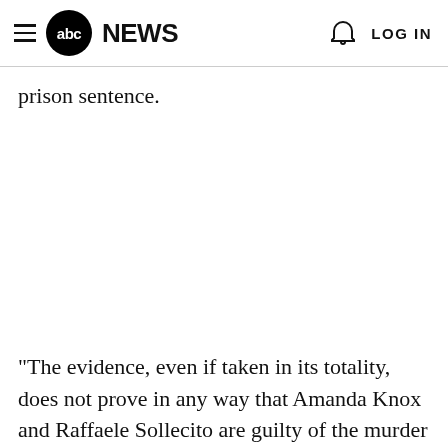abc NEWS  LOG IN
prison sentence.
"The evidence, even if taken in its totality, does not prove in any way that Amanda Knox and Raffaele Sollecito are guilty of the murder